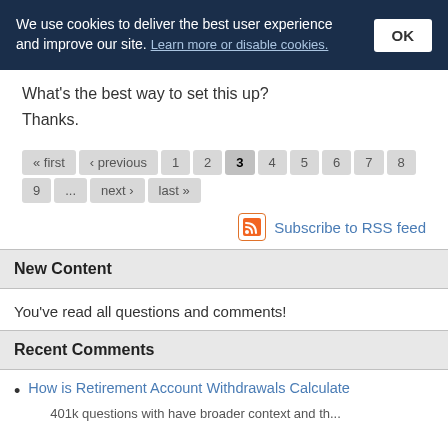We use cookies to deliver the best user experience and improve our site. Learn more or disable cookies. OK
What's the best way to set this up?
Thanks.
« first ‹ previous 1 2 3 4 5 6 7 8 9 ... next › last »
Subscribe to RSS feed
New Content
You've read all questions and comments!
Recent Comments
How is Retirement Account Withdrawals Calculate
401k questions with have broader context and the...